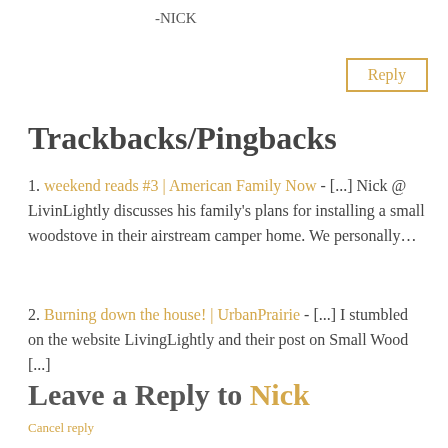-NICK
Reply
Trackbacks/Pingbacks
1. weekend reads #3 | American Family Now - [...] Nick @ LivinLightly discusses his family's plans for installing a small woodstove in their airstream camper home. We personally…
2. Burning down the house! | UrbanPrairie - [...] I stumbled on the website LivingLightly and their post on Small Wood [...]
Leave a Reply to Nick
Cancel reply